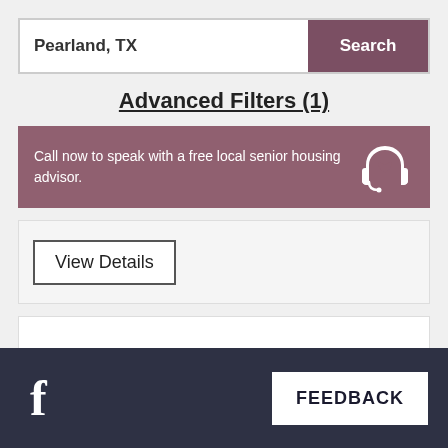Pearland, TX
Search
Advanced Filters (1)
Call now to speak with a free local senior housing advisor.
[Figure (illustration): Headset icon with heart symbol in white on mauve background]
View Details
f  FEEDBACK